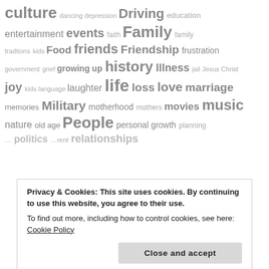[Figure (infographic): Word cloud with tags of varying sizes in gray, including: culture, dancing, depression, Driving, education, entertainment, events, faith, Family, family tradtions, kids, Food, friends, Friendship, frustration, government, grief, growing up, history, Illness, jail, Jesus Christ, joy, kids, language, laughter, life, loss, love, marriage, memories, Military, motherhood, mothers, movies, music, nature, old age, People, personal growth, planning, (partially visible: politics, relationships)]
Privacy & Cookies: This site uses cookies. By continuing to use this website, you agree to their use.
To find out more, including how to control cookies, see here: Cookie Policy